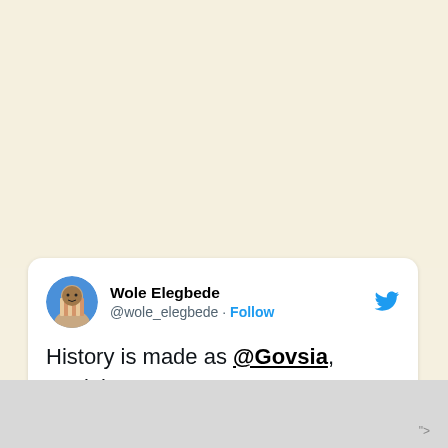[Figure (screenshot): Tweet card from Wole Elegbede (@wole_elegbede) with Follow button and Twitter bird logo. Tweet text: 'History is made as @Govsia, Soyinka,']